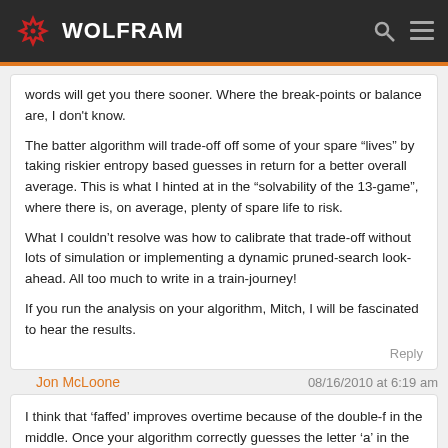WOLFRAM
words will get you there sooner. Where the break-points or balance are, I don't know.

The batter algorithm will trade-off off some of your spare “lives” by taking riskier entropy based guesses in return for a better overall average. This is what I hinted at in the “solvability of the 13-game”, where there is, on average, plenty of spare life to risk.

What I couldn’t resolve was how to calibrate that trade-off without lots of simulation or implementing a dynamic pruned-search look-ahead. All too much to write in a train-journey!

If you run the analysis on your algorithm, Mitch, I will be fascinated to hear the results.
Reply
Jon McLoone   08/16/2010 at 6:19 am
I think that ‘faffed’ improves overtime because of the double-f in the middle. Once your algorithm correctly guesses the letter ‘a’ in the word, the use of a double-z is certainly more likely than the use of a double-f. Even though the word has three ‘f’s in it as opposed to two ‘z’s, only one f is